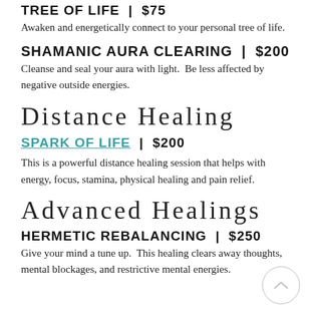TREE OF LIFE  |  $75
Awaken and energetically connect to your personal tree of life.
SHAMANIC AURA CLEARING  |  $200
Cleanse and seal your aura with light. Be less affected by negative outside energies.
Distance Healing
SPARK OF LIFE  |  $200
This is a powerful distance healing session that helps with energy, focus, stamina, physical healing and pain relief.
Advanced Healings
HERMETIC REBALANCING  |  $250
Give your mind a tune up. This healing clears away thoughts, mental blockages, and restrictive mental energies.